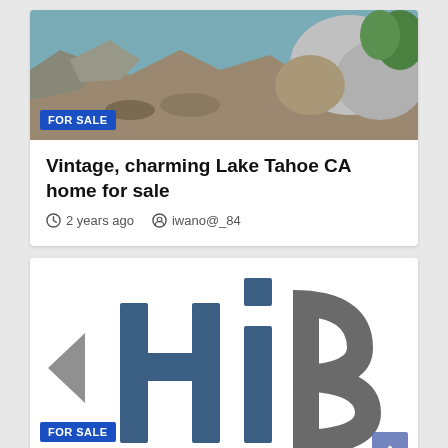[Figure (photo): Outdoor rocky landscape near water, with a FOR SALE badge overlay]
Vintage, charming Lake Tahoe CA home for sale
2 years ago   iwano@_84
[Figure (logo): HiBid logo showing 'HiB' letters in steel blue and gray, with a FOR SALE badge and scroll arrow]
HiBid.com Reports Record Number of Lots and